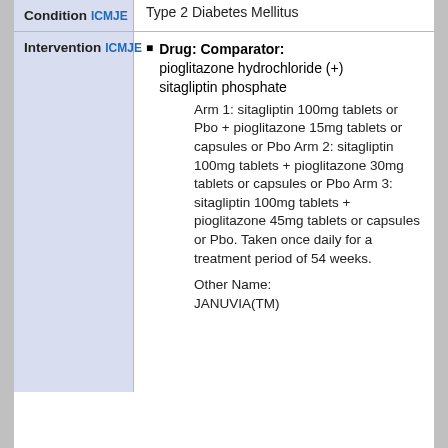| Field | Value |
| --- | --- |
| Condition ICMJE | Type 2 Diabetes Mellitus |
| Intervention ICMJE | Drug: Comparator: pioglitazone hydrochloride (+) sitagliptin phosphate
Arm 1: sitagliptin 100mg tablets or Pbo + pioglitazone 15mg tablets or capsules or Pbo Arm 2: sitagliptin 100mg tablets + pioglitazone 30mg tablets or capsules or Pbo Arm 3: sitagliptin 100mg tablets + pioglitazone 45mg tablets or capsules or Pbo. Taken once daily for a treatment period of 54 weeks.
Other Name: JANUVIA(TM) |